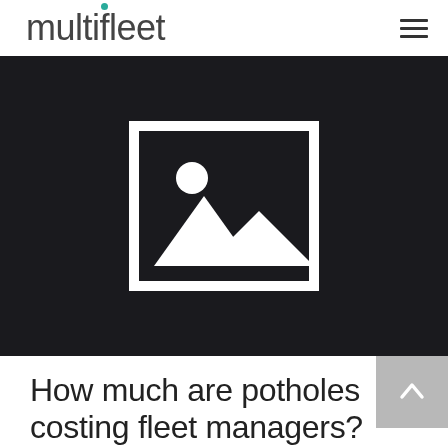multifleet
[Figure (photo): Dark hero image placeholder with a white image icon (mountain/landscape placeholder icon) in the center on a near-black background. A downward-pointing arrow at the bottom center.]
How much are potholes costing fleet managers?